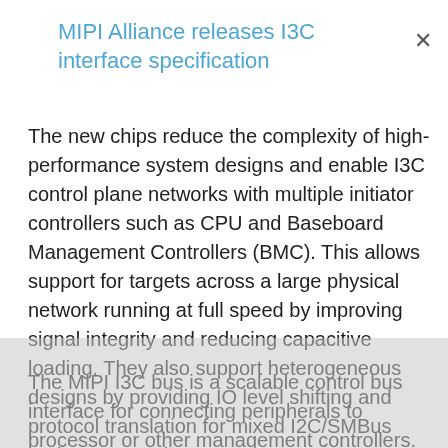MIPI Alliance releases I3C interface specification
The new chips reduce the complexity of high-performance system designs and enable I3C control plane networks with multiple initiator controllers such as CPU and Baseboard Management Controllers (BMC). This allows support for targets across a large physical network running at full speed by improving signal integrity and reducing capacitive loading. They also support heterogeneous designs by providing IO level shifting and protocol translation for mixed I2C/SMBus and I3C networks.
The MIPI I3C bus is a scalable control bus interface for connecting peripherals to processor or other management controllers. It offers advantages of high performance, improved reliability, very low